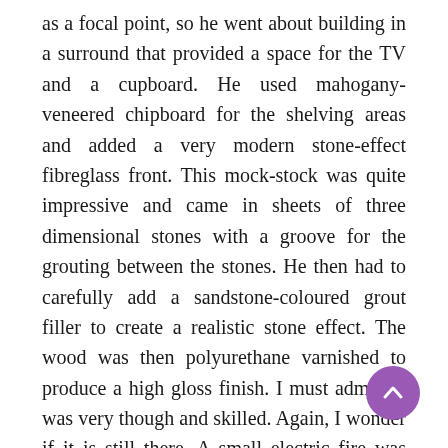as a focal point, so he went about building in a surround that provided a space for the TV and a cupboard. He used mahogany-veneered chipboard for the shelving areas and added a very modern stone-effect fibreglass front. This mock-stock was quite impressive and came in sheets of three dimensional stones with a groove for the grouting between the stones. He then had to carefully add a sandstone-coloured grout filler to create a realistic stone effect. The wood was then polyurethane varnished to produce a high gloss finish. I must admit he was very though and skilled. Again, I wonder if it is still there. A small electric fire was built into the centre of it with three bars. My father was never keen to have it on, due to the electricity usage, but Mum of had it on. Surprisingly, there was a round fish-eye